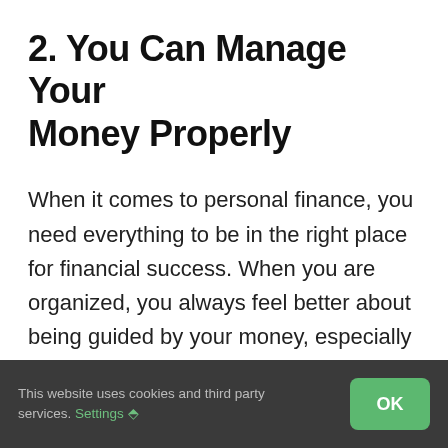2. You Can Manage Your Money Properly
When it comes to personal finance, you need everything to be in the right place for financial success. When you are organized, you always feel better about being guided by your money, especially in your business. Because of your financial requests, you can consider your income and expenses. In other words, the use of these apps can help you manage your personal and business finance...
This website uses cookies and third party services. Settings ⬘